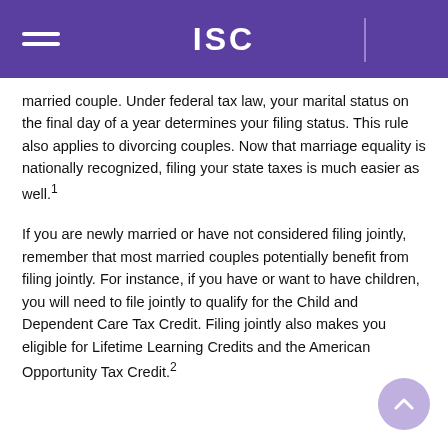ISC
married couple. Under federal tax law, your marital status on the final day of a year determines your filing status. This rule also applies to divorcing couples. Now that marriage equality is nationally recognized, filing your state taxes is much easier as well.¹
If you are newly married or have not considered filing jointly, remember that most married couples potentially benefit from filing jointly. For instance, if you have or want to have children, you will need to file jointly to qualify for the Child and Dependent Care Tax Credit. Filing jointly also makes you eligible for Lifetime Learning Credits and the American Opportunity Tax Credit.²